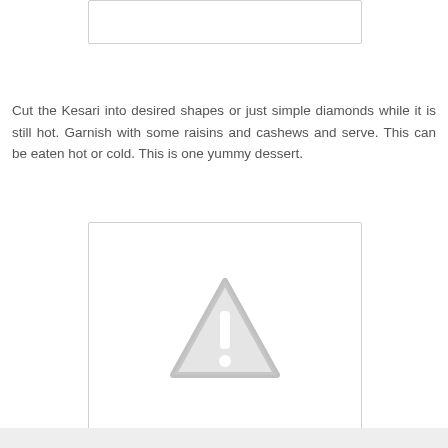[Figure (photo): Top image placeholder box (white rectangle with border)]
Cut the Kesari into desired shapes or just simple diamonds while it is still hot. Garnish with some raisins and cashews and serve. This can be eaten hot or cold. This is one yummy dessert.
[Figure (photo): Image placeholder box with a gray warning/missing image triangle icon containing an exclamation mark]